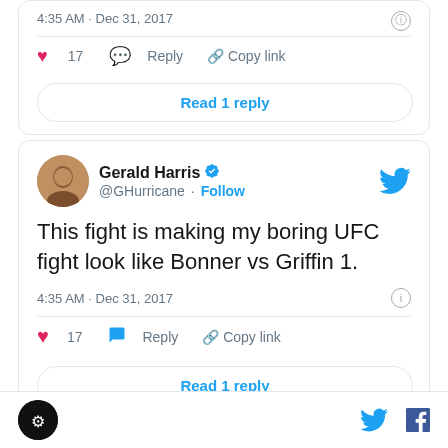4:35 AM · Dec 31, 2017
17  Reply  Copy link
Read 1 reply
Gerald Harris @GHurricane · Follow
This fight is making my boring UFC fight look like Bonner vs Griffin 1.
4:35 AM · Dec 31, 2017
17  Reply  Copy link
Read 1 reply
footer with logo and social icons